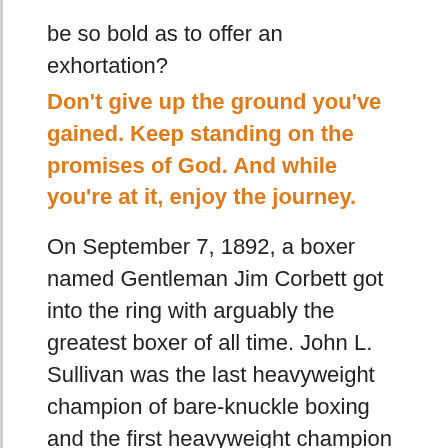be so bold as to offer an exhortation?
Don't give up the ground you've gained. Keep standing on the promises of God. And while you're at it, enjoy the journey.
On September 7, 1892, a boxer named Gentleman Jim Corbett got into the ring with arguably the greatest boxer of all time. John L. Sullivan was the last heavyweight champion of bare-knuckle boxing and the first heavyweight champion of gloved boxing. In 50 fights, he was undefeated. The only fight Sullivan ever lost was this one! Gentleman Jim Corbett knocked him out in the 21st round, but